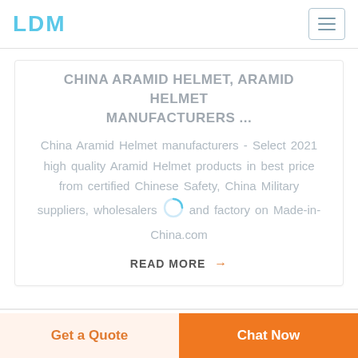LDM
CHINA ARAMID HELMET, ARAMID HELMET MANUFACTURERS ...
China Aramid Helmet manufacturers - Select 2021 high quality Aramid Helmet products in best price from certified Chinese Safety, China Military suppliers, wholesalers and factory on Made-in-China.com
READ MORE →